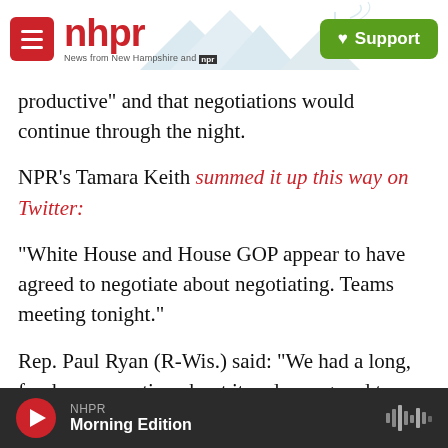nhpr — News from New Hampshire and NPR | Support
productive" and that negotiations would continue through the night.
NPR's Tamara Keith summed it up this way on Twitter:
"White House and House GOP appear to have agreed to negotiate about negotiating. Teams meeting tonight."
Rep. Paul Ryan (R-Wis.) said: "We had a long, frank conversation about it and we agreed to continue talking and continue negotiating. So [Obama] didn't
NHPR Morning Edition